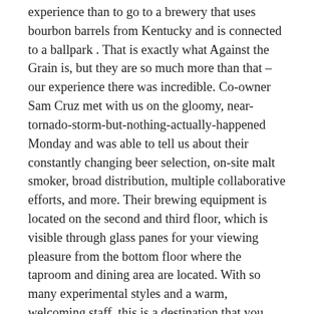experience than to go to a brewery that uses bourbon barrels from Kentucky and is connected to a ballpark . That is exactly what Against the Grain is, but they are so much more than that – our experience there was incredible. Co-owner Sam Cruz met with us on the gloomy, near-tornado-storm-but-nothing-actually-happened Monday and was able to tell us about their constantly changing beer selection, on-site malt smoker, broad distribution, multiple collaborative efforts, and more. Their brewing equipment is located on the second and third floor, which is visible through glass panes for your viewing pleasure from the bottom floor where the taproom and dining area are located. With so many experimental styles and a warm, welcoming staff, this is a destination that you cannot miss out on!
Continue reading →